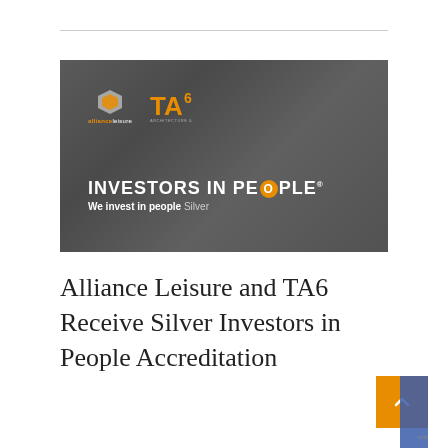[Figure (photo): Dark grey textured background showing Alliance Leisure and TA6 logos at top, with 'INVESTORS IN PEOPLE' text and 'We invest in people Silver' tagline below]
Alliance Leisure and TA6 Receive Silver Investors in People Accreditation